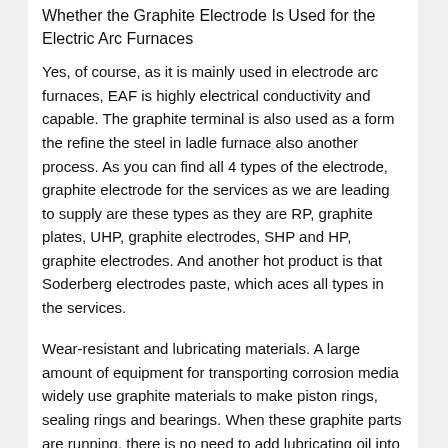Whether the Graphite Electrode Is Used for the Electric Arc Furnaces
Yes, of course, as it is mainly used in electrode arc furnaces, EAF is highly electrical conductivity and capable. The graphite terminal is also used as a form the refine the steel in ladle furnace also another process. As you can find all 4 types of the electrode, graphite electrode for the services as we are leading to supply are these types as they are RP, graphite plates, UHP, graphite electrodes, SHP and HP, graphite electrodes. And another hot product is that Soderberg electrodes paste, which aces all types in the services.
Wear-resistant and lubricating materials. A large amount of equipment for transporting corrosion media widely use graphite materials to make piston rings, sealing rings and bearings. When these graphite parts are running, there is no need to add lubricating oil into those equipment. Graphite emulsion is also a good lubricant for many metal processing.